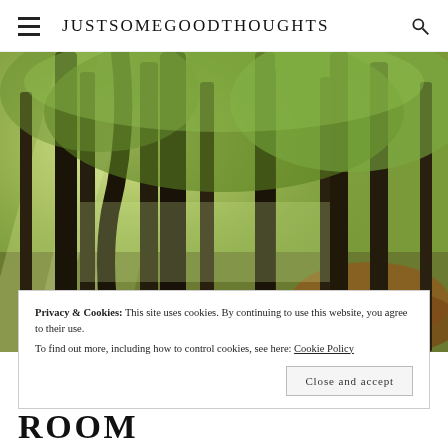JUSTSOMEGOODTHOUGHTS
[Figure (photo): Sunlit forest with tall trees, green foliage and golden light rays filtering through, autumn leaves on ground]
Privacy & Cookies: This site uses cookies. By continuing to use this website, you agree to their use.
To find out more, including how to control cookies, see here: Cookie Policy
Close and accept
ROOM